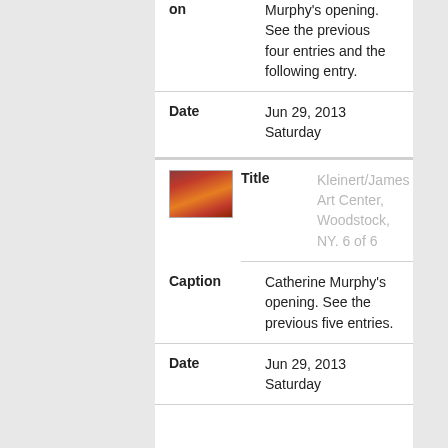| Field | Value |
| --- | --- |
| Caption | Murphy's opening. See the previous four entries and the following entry. |
| Date | Jun 29, 2013 Saturday |
| Title | Kleinert/James Art Center, Woodstock, NY. 6 of 6 |
| Caption | Catherine Murphy's opening. See the previous five entries. |
| Date | Jun 29, 2013 Saturday |